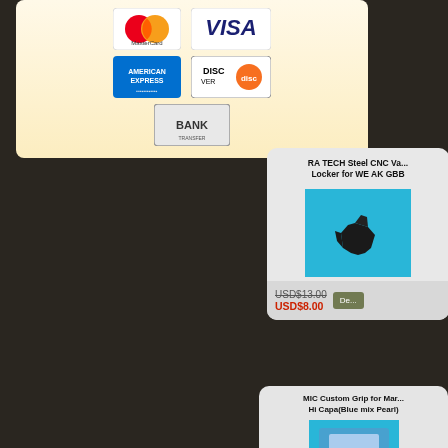[Figure (screenshot): Payment methods card showing MasterCard, Visa, American Express, Discover, and Bank transfer logos on a cream/yellow gradient background]
[Figure (screenshot): Product card for RA TECH Steel CNC Va... Locker for WE AK GBB showing a cyan/blue background product image of a small black metal part, original price USD$13.00 (strikethrough) and sale price USD$8.00 in red, with a Details button]
RA TECH Steel CNC Va... Locker for WE AK GBB
USD$13.00
USD$8.00
[Figure (screenshot): Product card for MIC Custom Grip for Mar... Hi Capa(Blue mix Pearl) partially visible at bottom of page]
MIC Custom Grip for Mar... Hi Capa(Blue mix Pearl)